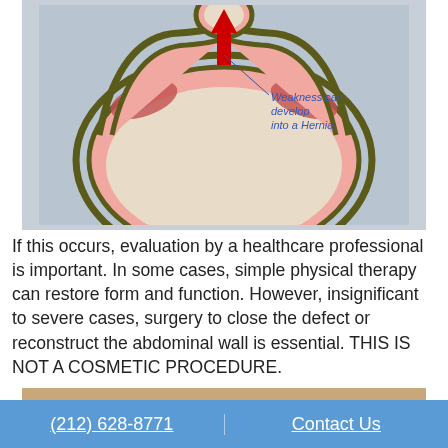[Figure (illustration): Cross-sectional anatomical diagram of the abdominal wall showing a circular ring of layered tissue (skin, pink muscle, and dark outer layer). A large red upward-pointing arrow indicates a bulge/hernia protrusion at the top. A blue italic label reads 'Weakness can develop into a Hernia'. Background is grey-blue.]
If this occurs, evaluation by a healthcare professional is important. In some cases, simple physical therapy can restore form and function. However, insignificant to severe cases, surgery to close the defect or reconstruct the abdominal wall is essential. THIS IS NOT A COSMETIC PROCEDURE.
[Figure (photo): Partial bottom edge of a photo showing skin/body.]
(212) 628-8771    Contact Us